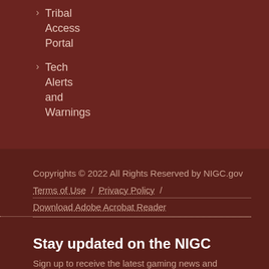Tribal Access Portal
Tech Alerts and Warnings
Copyrights © 2022 All Rights Reserved by NIGC.gov
Terms of Use  /  Privacy Policy  /
Download Adobe Acrobat Reader
Stay updated on the NIGC
Sign up to receive the latest gaming news and